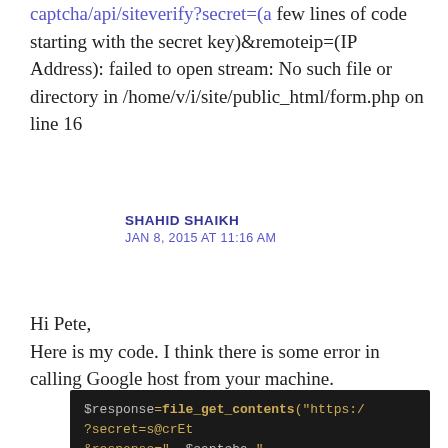captcha/api/siteverify?secret=(a few lines of code starting with the secret key)&remoteip=(IP Address): failed to open stream: No such file or directory in /home/v/i/site/public_html/form.php on line 16
SHAHID SHAIKH
JAN 8, 2015 AT 11:16 AM
Hi Pete,
Here is my code. I think there is some error in calling Google host from your machine.
[Figure (screenshot): Dark-background code block showing PHP: $response=file_get_contents("https:/ ?secret=s@crEt &response=" $captcha .]